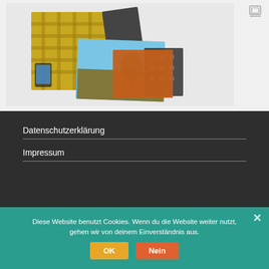[Figure (photo): Photo collage showing layered images: yellow plaid pattern, a blue sky landscape photo, a person holding a phone, and other overlapping images on a light gray background. A layers icon is visible in the top right corner.]
Datenschutzerklärung
Impressum
Diese Website benutzt Cookies. Wenn du die Website weiter nutzt, gehen wir von deinem Einverständnis aus.